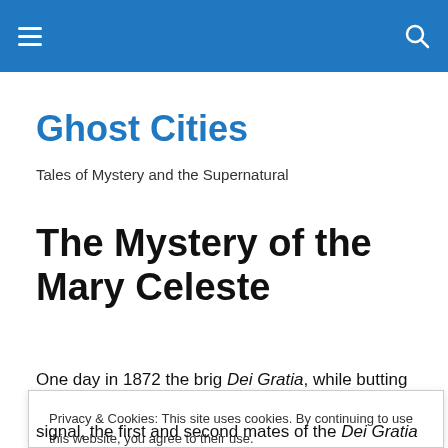Ghost Cities — navigation bar with hamburger menu and search icon
Ghost Cities
Tales of Mystery and the Supernatural
The Mystery of the Mary Celeste
One day in 1872 the brig Dei Gratia, while butting her
Privacy & Cookies: This site uses cookies. By continuing to use this website, you agree to their use.
To find out more, including how to control cookies, see here: Cookie Policy
Close and accept
signal, the first and second mates of the Dei Gratia rowed